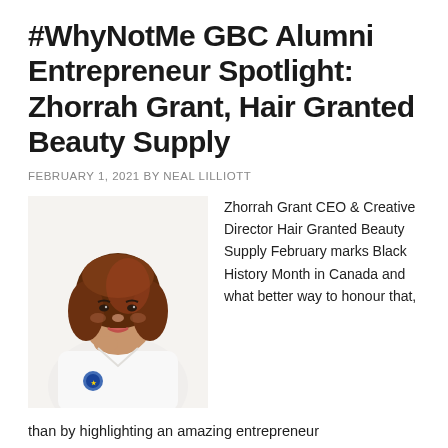#WhyNotMe GBC Alumni Entrepreneur Spotlight: Zhorrah Grant, Hair Granted Beauty Supply
FEBRUARY 1, 2021 BY NEAL LILLIOTT
[Figure (photo): Portrait photo of Zhorrah Grant, a woman with reddish-brown hair wearing a white blazer with a logo, posing with her hand near her chin and smiling.]
Zhorrah Grant CEO & Creative Director Hair Granted Beauty Supply February marks Black History Month in Canada and what better way to honour that,
than by highlighting an amazing entrepreneur